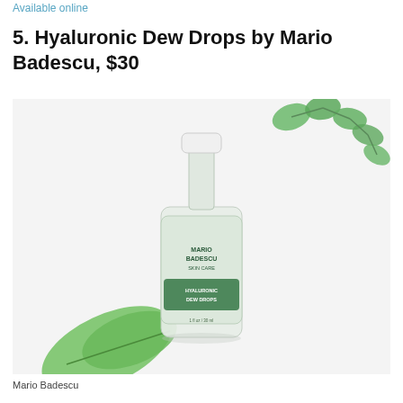Available online
5. Hyaluronic Dew Drops by Mario Badescu, $30
[Figure (photo): Mario Badescu Hyaluronic Dew Drops product bottle, a small clear pump bottle with white cap and green label, surrounded by green leaves on a white background.]
Mario Badescu